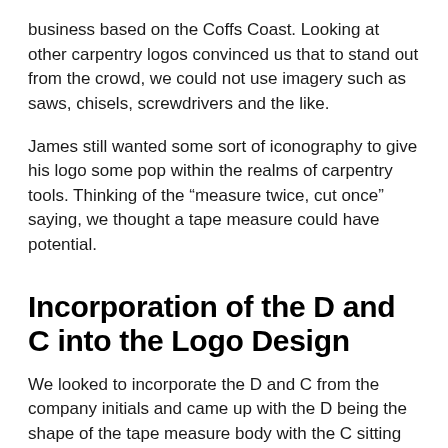business based on the Coffs Coast. Looking at other carpentry logos convinced us that to stand out from the crowd, we could not use imagery such as saws, chisels, screwdrivers and the like.
James still wanted some sort of iconography to give his logo some pop within the realms of carpentry tools. Thinking of the "measure twice, cut once" saying, we thought a tape measure could have potential.
Incorporation of the D and C into the Logo Design
We looked to incorporate the D and C from the company initials and came up with the D being the shape of the tape measure body with the C sitting